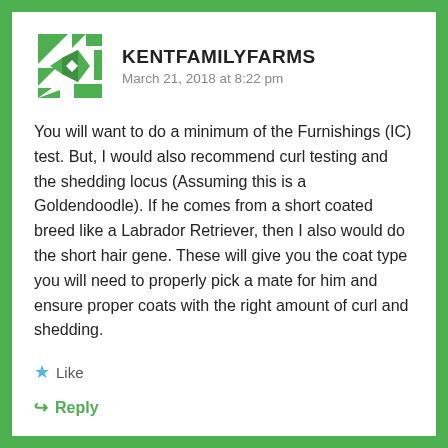[Figure (logo): KentFamilyFarms avatar logo — green geometric/angular design resembling a stylized farm icon]
KENTFAMILYFARMS
March 21, 2018 at 8:22 pm
You will want to do a minimum of the Furnishings (IC) test. But, I would also recommend curl testing and the shedding locus (Assuming this is a Goldendoodle). If he comes from a short coated breed like a Labrador Retriever, then I also would do the short hair gene. These will give you the coat type you will need to properly pick a mate for him and ensure proper coats with the right amount of curl and shedding.
Like
Reply